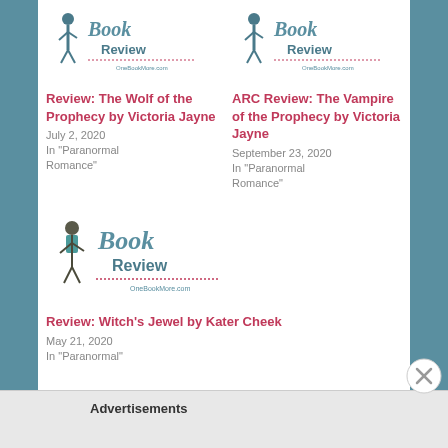[Figure (logo): Book Review logo - OneBookMore.com, top left]
Review: The Wolf of the Prophecy by Victoria Jayne
July 2, 2020
In "Paranormal Romance"
[Figure (logo): Book Review logo - OneBookMore.com, top right]
ARC Review: The Vampire of the Prophecy by Victoria Jayne
September 23, 2020
In "Paranormal Romance"
[Figure (logo): Book Review logo - OneBookMore.com, bottom left]
Review: Witch's Jewel by Kater Cheek
May 21, 2020
In "Paranormal"
Advertisements